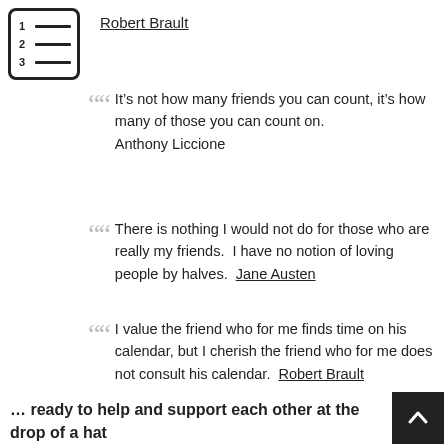[Figure (illustration): Numbered list icon in a rounded rectangle box with rows 1, 2, 3 and horizontal lines]
Robert Brault
It’s not how many friends you can count, it’s how many of those you can count on. Anthony Liccione
There is nothing I would not do for those who are really my friends.  I have no notion of loving people by halves.  Jane Austen
I value the friend who for me finds time on his calendar, but I cherish the friend who for me does not consult his calendar.  Robert Brault
… ready to help and support each other at the drop of a hat